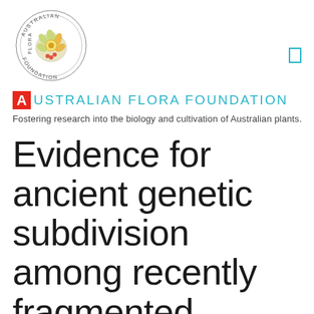[Figure (logo): Australian Flora Foundation circular logo with botanical illustration]
AUSTRALIAN FLORA FOUNDATION
Fostering research into the biology and cultivation of Australian plants.
Evidence for ancient genetic subdivision among recently fragmented populations of the endangered shrub Grevillea caleyi